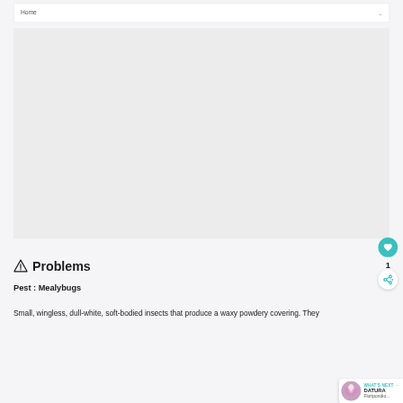Home
[Figure (photo): Large image area, mostly empty/light gray — plant or garden photo placeholder]
⚠ Problems
Pest : Mealybugs
Small, wingless, dull-white, soft-bodied insects that produce a waxy powdery covering. They
[Figure (photo): Datura Floripondio thumbnail — circular flower photo in 'What's Next' card]
WHAT'S NEXT → DATURA Floripondio...